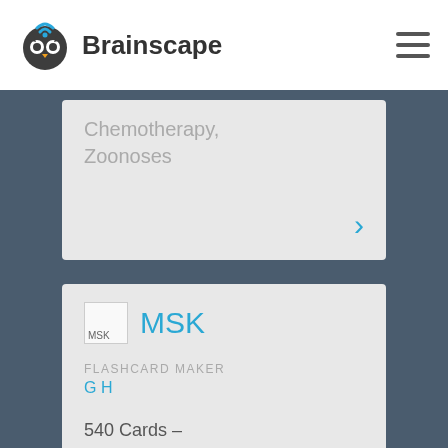[Figure (logo): Brainscape logo with owl icon and wordmark]
Chemotherapy, Zoonoses
MSK
FLASHCARD MAKER
G H
540 Cards –
24 Decks –
4 Learners
Sample Decks: Orthopaedic Hip Conditions, Orthopaedic Knee